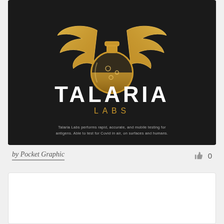[Figure (logo): Talaria Labs logo on dark background: a golden winged flask/potion bottle icon above white bold text 'TALARIA' and gold text 'LABS', with small italic caption text: 'Talaria Labs performs rapid, accurate, and mobile testing for antigens. Able to test for Covid in air, on surfaces and humans.']
by Pocket Graphic
0